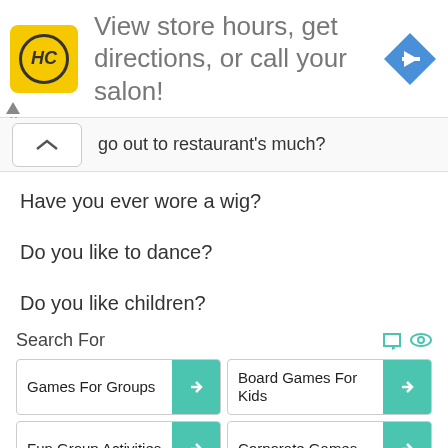[Figure (screenshot): Advertisement banner for a hair salon with HC logo, text 'View store hours, get directions, or call your salon!' and a blue diamond direction arrow icon]
go out to restaurant's much?
Have you ever wore a wig?
Do you like to dance?
Do you like children?
Search For
Games For Groups
Board Games For Kids
Fun Group Activities
Corporate Games
Indoor Party Games
Top 100 Multiplayer
Grown Party Games
Ice Breaker Games